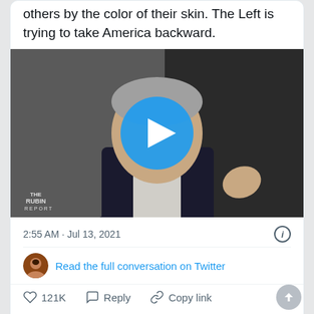others by the color of their skin. The Left is trying to take America backward.
[Figure (screenshot): Video thumbnail showing a man in a dark suit gesturing, with 'THE RUBIN REPORT' watermark and a blue play button overlay]
2:55 AM · Jul 13, 2021
Read the full conversation on Twitter
121K   Reply   Copy link
Read 2.7K replies